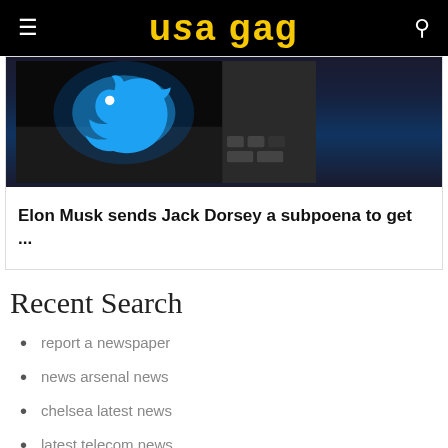USA GAG
[Figure (photo): Dark photo showing a glowing blue Twitter bird logo on a keyboard/device in a dark setting]
Elon Musk sends Jack Dorsey a subpoena to get ...
Recent Search
report a newspaper
news arsenal news
chelsea latest news
latest telecom news
latest pakistan news
latest san francisco 49ers news